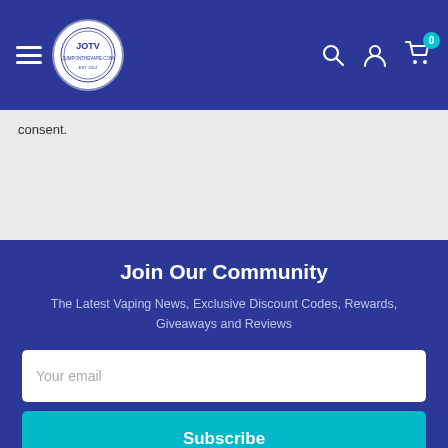JOTV jumponthevape.com navigation bar with hamburger menu, logo, search, user, and cart icons
consent.
Join Our Community
The Latest Vaping News, Exclusive Discount Codes, Rewards, Giveaways and Reviews
Your email
Subscribe
Unsubscribe any time!